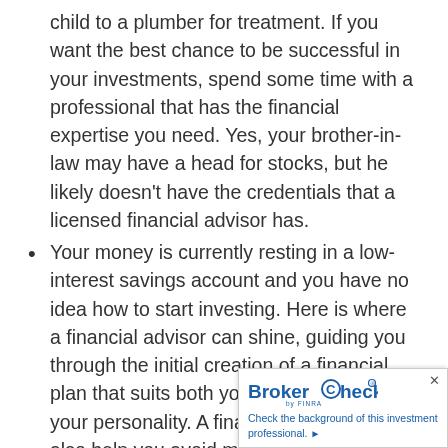child to a plumber for treatment. If you want the best chance to be successful in your investments, spend some time with a professional that has the financial expertise you need. Yes, your brother-in-law may have a head for stocks, but he likely doesn't have the credentials that a licensed financial advisor has.
Your money is currently resting in a low-interest savings account and you have no idea how to start investing. Here is where a financial advisor can shine, guiding you through the initial creation of a financial plan that suits both your income level and your personality. A financial advisor can also help you avoid making emotional decisions when looking to invest.
Access to resources. Financial advisors have access to a variety of tools and resources that help them perform their job better, in the process, providing yo... latest information on stocks and other inve... are not necessarily accessible to the gener...